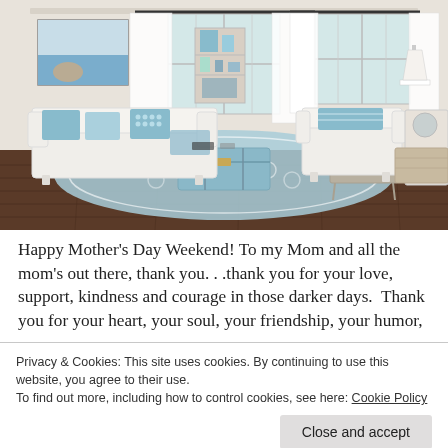[Figure (illustration): 3D rendered interior design of a coastal/beach-style living room with white sofas, light blue accent pillows, a blue patterned rug, blue trunk coffee table, white curtains, built-in shelving, two windows, and dark hardwood floors]
Happy Mother's Day Weekend! To my Mom and all the mom's out there, thank you. . .thank you for your love, support, kindness and courage in those darker days.  Thank you for your heart, your soul, your friendship, your humor,
Privacy & Cookies: This site uses cookies. By continuing to use this website, you agree to their use.
To find out more, including how to control cookies, see here: Cookie Policy
Close and accept